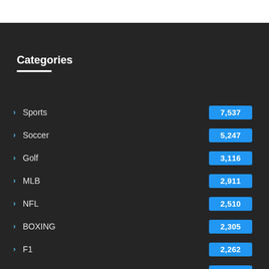Categories
Sports 7,537
Soccer 5,247
Golf 3,116
MLB 2,911
NFL 2,510
BOXING 2,305
F1 2,262
NBA 1,
Tennis 1,735